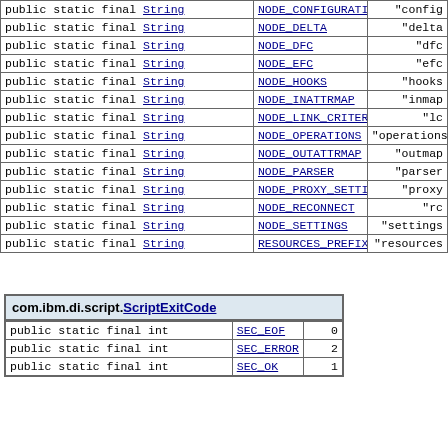| Modifier and Type | Field | Value |
| --- | --- | --- |
| public static final String | NODE_CONFIGURATION | "config |
| public static final String | NODE_DELTA | "delta |
| public static final String | NODE_DFC | "dfc |
| public static final String | NODE_EFC | "efc |
| public static final String | NODE_HOOKS | "hooks |
| public static final String | NODE_INATTRMAP | "inmap |
| public static final String | NODE_LINK_CRITERIA | "lc |
| public static final String | NODE_OPERATIONS | "operations |
| public static final String | NODE_OUTATTRMAP | "outmap |
| public static final String | NODE_PARSER | "parser |
| public static final String | NODE_PROXY_SETTINGS | "proxy |
| public static final String | NODE_RECONNECT | "rc |
| public static final String | NODE_SETTINGS | "settings |
| public static final String | RESOURCES_PREFIX | "resources |
| Modifier and Type | Field | Value |
| --- | --- | --- |
| public static final int | SEC_EOF | 0 |
| public static final int | SEC_ERROR | 2 |
| public static final int | SEC_OK | 1 |